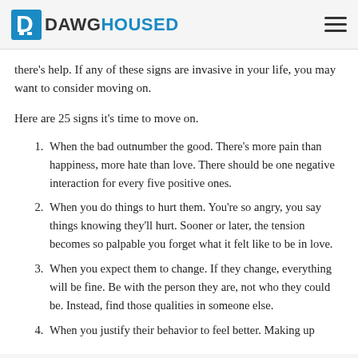DAWGHOUSED
there's help. If any of these signs are invasive in your life, you may want to consider moving on.
Here are 25 signs it's time to move on.
When the bad outnumber the good. There's more pain than happiness, more hate than love. There should be one negative interaction for every five positive ones.
When you do things to hurt them. You're so angry, you say things knowing they'll hurt. Sooner or later, the tension becomes so palpable you forget what it felt like to be in love.
When you expect them to change. If they change, everything will be fine. Be with the person they are, not who they could be. Instead, find those qualities in someone else.
When you justify their behavior to feel better. Making up